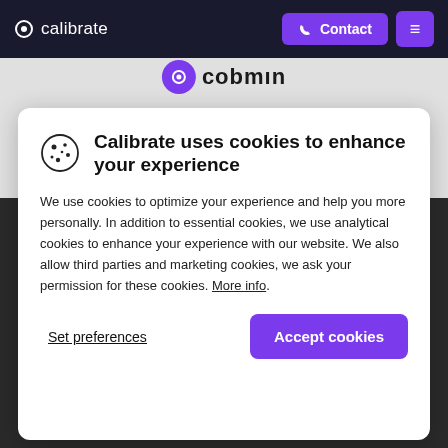calibrate  Contact ☰
Tailor made web applications with PHP and Javascript
Calibrate uses cookies to enhance your experience
We use cookies to optimize your experience and help you more personally. In addition to essential cookies, we use analytical cookies to enhance your experience with our website. We also allow third parties and marketing cookies, we ask your permission for these cookies. More info.
Set preferences
Accept cookies